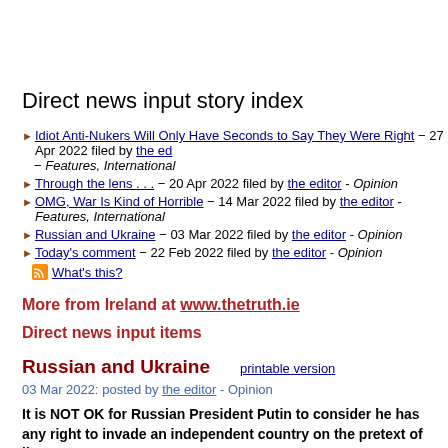Direct news input story index
Idiot Anti-Nukers Will Only Have Seconds to Say They Were Right – 27 Apr 2022 filed by the editor - Features, International
Through the lens . . . – 20 Apr 2022 filed by the editor - Opinion
OMG, War Is Kind of Horrible – 14 Mar 2022 filed by the editor - Features, International
Russian and Ukraine – 03 Mar 2022 filed by the editor - Opinion
Today's comment – 22 Feb 2022 filed by the editor - Opinion
What's this?
More from Ireland at www.thetruth.ie
Direct news input items
Russian and Ukraine
printable version
03 Mar 2022: posted by the editor - Opinion
It is NOT OK for Russian President Putin to consider he has any right to invade an independent country on the pretext of lies.